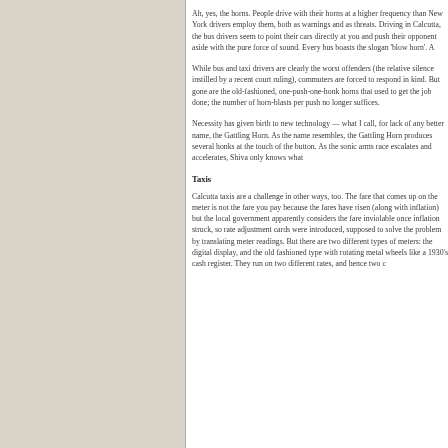Ah, yes, the horns. People drive with their horns at a higher frequency than New York drivers employ them, both as warnings and as threats. Driving in Calcutta, the bus drivers seem to point their cars directly at you and push their opponent aside with the pure force of sound. Every bus boasts the slogan 'blow horn'. A
While bus and taxi drivers are clearly the worst offenders (the relative silence instilled by a recent court ruling), commuters are forced to respond in kind. But gone are the old-fashioned, one-push-one-honk horns that used to get the job done; the number of horn-blasts per push no longer suffices.
Necessity has given birth to new technology — what I call, for lack of any better name, the Gattling Horn. As the name resembles, the Gattling Horn produces several honks at the touch of the button. As the sonic arms race escalates and accelerates, Shiva only knows what
Taxis
Calcutta taxis are a challenge in other ways, too. The fare that comes up on the meter is not the fare you pay because the fares have risen (along with inflation) but the local government apparently considers the fare inviolable once inflation struck, so rate adjustment cards were introduced, supposed to solve the problem by translating meter readings. But there are two different types of meters: the digital display, and the old fashioned type with rotating metal wheels like a 1930's cash register. They run on two different rates, and hence two c